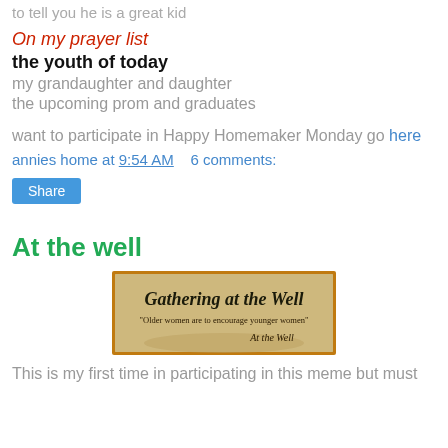to tell you he is a great kid
On my prayer list
the youth of today
my grandaughter and daughter
the upcoming prom and graduates
want to participate in Happy Homemaker Monday go here
annies home at 9:54 AM   6 comments:
Share
At the well
[Figure (illustration): Banner image for 'Gathering at the Well' with text: 'Gathering at the Well', 'Older women are to encourage younger women', 'At the Well'. Sepia-toned with orange border.]
This is my first time in participating in this meme but must